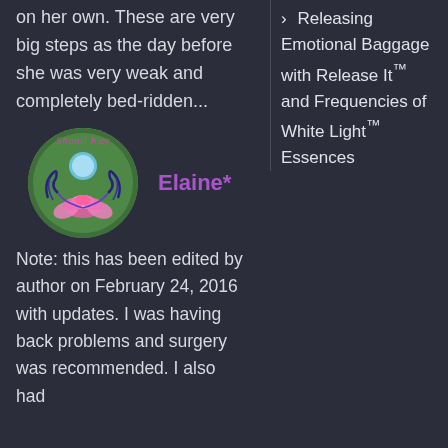on her own. These are very big steps as the day before she was very weak and completely bed-ridden...
[Figure (illustration): Circular avatar/logo with a lotus flower, crescent moon or blue orb, decorative purple vines, on a green glowing background. Text 'Shanti Kay' appears above.]
Elaine*
Note: this has been edited by author on February 24, 2016 with updates. I was having back problems and surgery was recommended. I also had
Releasing Emotional Baggage with Release It™ and Frequencies of White Light™ Essences